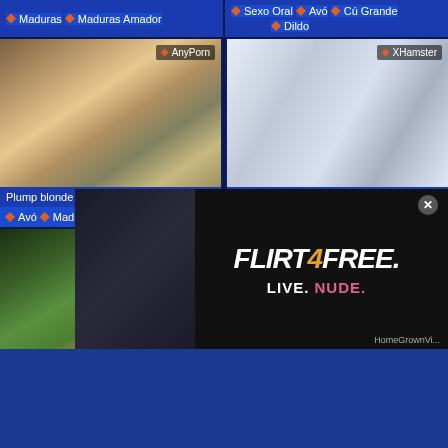Maduras | Maduras Amador | Sexo Oral | Avó | Cú Grande | Dildo
[Figure (screenshot): Video thumbnail left top: Plump blonde woman, AnyPorn source]
Plump blonde will very gladly allow her
Avó | Maduras | HD
[Figure (screenshot): Video thumbnail right top: Chinese Granny Neighbour Gets, XHamster source]
Chinese Granny Neighbour Gets
Avó | Maduras
[Figure (screenshot): Video thumbnail bottom left, AnyPorn source]
[Figure (screenshot): Video thumbnail bottom right, XHamster source with FLIRT4FREE advertisement overlay]
[Figure (advertisement): FLIRT4FREE advertisement overlay: LIVE. NUDE.]